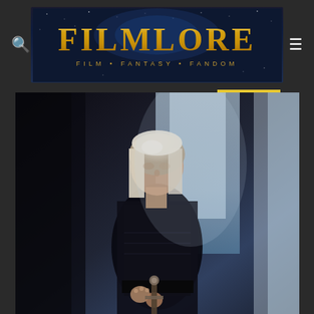[Figure (logo): Filmlore website logo with text 'FILMLORE' in gold metallic font and subtitle 'FILM • FANTASY • FANDOM' on a dark starry blue background]
[Figure (photo): A person with platinum blonde shoulder-length hair wearing dark clothing, holding a sword or staff, photographed from a low angle with dramatic backlit blue and grey tones, likely a character from House of the Dragon or similar fantasy series]